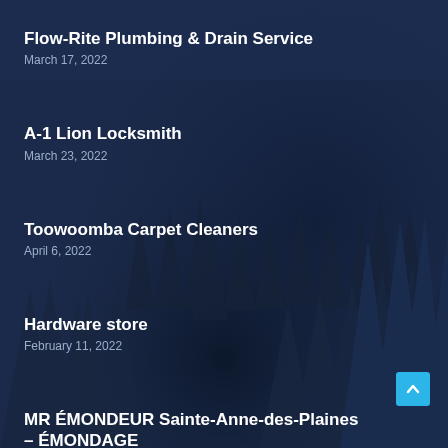Flow-Rite Plumbing & Drain Service
March 17, 2022
A-1 Lion Locksmith
March 23, 2022
Toowoomba Carpet Cleaners
April 6, 2022
Hardware store
February 11, 2022
MR ÉMONDEUR Sainte-Anne-des-Plaines – ÉMONDAGE
November 18, 2021